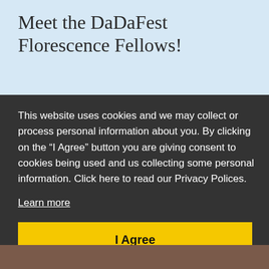Meet the DaDaFest Florescence Fellows!
Read More >
This website uses cookies and we may collect or process personal information about you. By clicking on the “I Agree” button you are giving consent to cookies being used and us collecting some personal information. Click here to read our Privacy Polices.
Learn more
I Agree
[Figure (photo): Bottom strip showing partial photo of people]